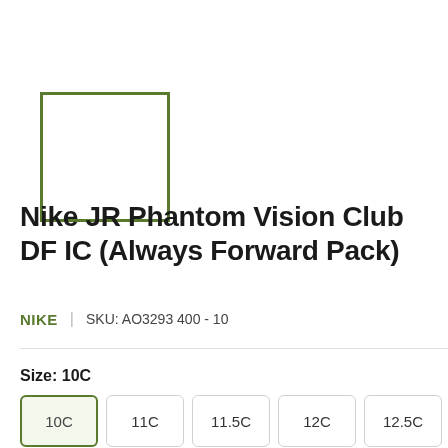[Figure (other): Product image placeholder box with green border, empty white interior]
Nike JR Phantom Vision Club DF IC (Always Forward Pack)
NIKE   |   SKU: AO3293 400 - 10
Size: 10C
10C  11C  11.5C  12C  12.5C
13C  13.5C  1Y  1.5Y  2Y